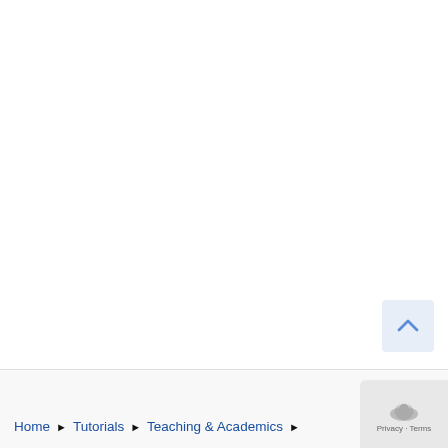[Figure (screenshot): Mostly blank white page area, upper portion of a web page with no visible content]
[Figure (other): Scroll-to-top button with a blue upward chevron arrow on a light blue background]
Home ▶ Tutorials ▶ Teaching & Academics ▶
[Figure (other): Google privacy badge showing a phone/handset icon with Privacy · Terms text]